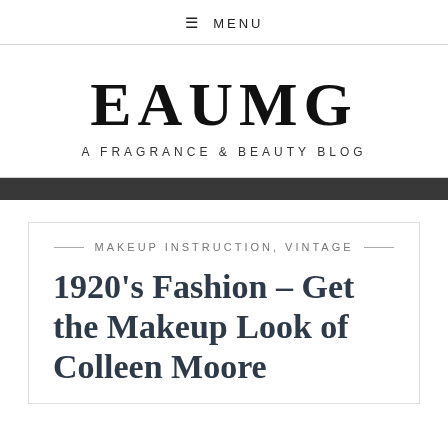≡ MENU
EAUMG
A FRAGRANCE & BEAUTY BLOG
— MAKEUP INSTRUCTION, VINTAGE —
1920's Fashion – Get the Makeup Look of Colleen Moore